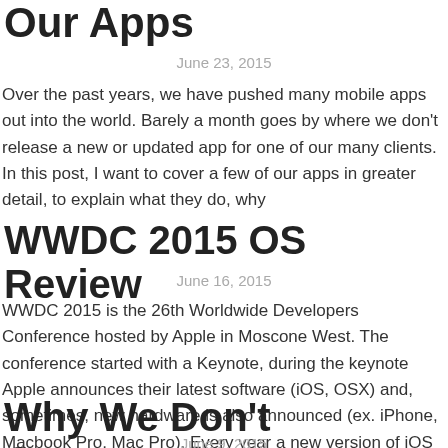Our Apps
June 23, 2015
Over the past years, we have pushed many mobile apps out into the world. Barely a month goes by where we don't release a new or updated app for one of our many clients. In this post, I want to cover a few of our apps in greater detail, to explain what they do, why
WWDC 2015 OS Review
June 16, 2015
WWDC 2015 is the 26th Worldwide Developers Conference hosted by Apple in Moscone West. The conference started with a Keynote, during the keynote Apple announces their latest software (iOS, OSX) and, sometimes, new hardware is also announced (ex. iPhone, Macbook Pro, Mac Pro). Every year a new version of iOS and OSX will be released,
Why We Don't Outsource
June 9, 2015